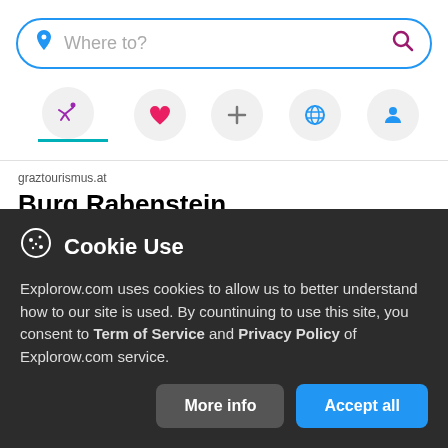[Figure (screenshot): Search bar with location pin icon and search magnifying glass icon, placeholder text 'Where to?']
[Figure (screenshot): Navigation icon row with five circular icons: running figure (purple), heart (pink), plus sign (gray), globe (blue), person (blue)]
graztourismus.at
Burg Rabenstein
Anything but antiquated, this impressive castle towers over the Mur river valley. This
Cookie Use
Explorow.com uses cookies to allow us to better understand how to our site is used. By countinuing to use this site, you consent to Term of Service and Privacy Policy of Explorow.com service.